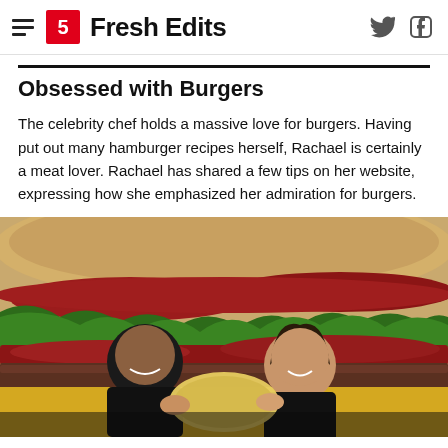Fresh Edits
Obsessed with Burgers
The celebrity chef holds a massive love for burgers. Having put out many hamburger recipes herself, Rachael is certainly a meat lover. Rachael has shared a few tips on her website, expressing how she emphasized her admiration for burgers.
[Figure (photo): Two people sitting in front of a giant decorative burger backdrop. A man and a woman are laughing and holding a large prop cheese slice between them.]